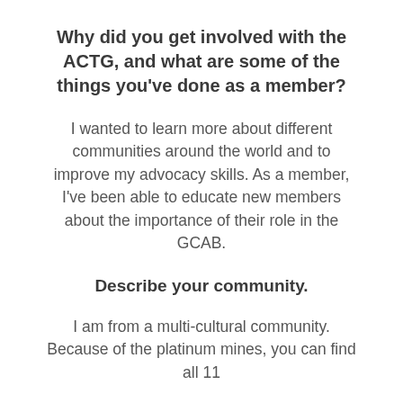Why did you get involved with the ACTG, and what are some of the things you've done as a member?
I wanted to learn more about different communities around the world and to improve my advocacy skills. As a member, I've been able to educate new members about the importance of their role in the GCAB.
Describe your community.
I am from a multi-cultural community. Because of the platinum mines, you can find all 11